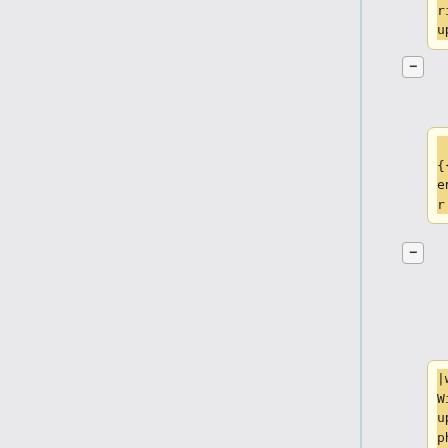|Window=Phabricator update
|who={{ircnick|twentyafterfour|Mukunda}}
|what=HOLD: Window to update phabricator.wikimedia.org
}}|
{{#invoke:Deployment schedule|row